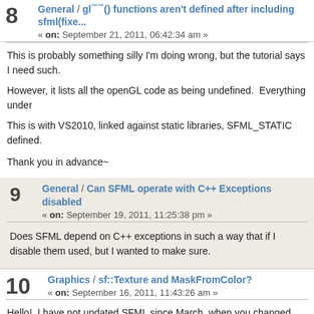8 General / gl™™() functions aren't defined after including sfml(fixe... « on: September 21, 2011, 06:42:34 am »
This is probably something silly I'm doing wrong, but the tutorial says I need such.
However, it lists all the openGL code as being undefined.  Everything under
This is with VS2010, linked against static libraries, SFML_STATIC defined.
Thank you in advance~
9 General / Can SFML operate with C++ Exceptions disabled « on: September 19, 2011, 11:25:38 pm »
Does SFML depend on C++ exceptions in such a way that if I disable them used, but I wanted to make sure.
10 Graphics / sf::Texture and MaskFromColor? « on: September 16, 2011, 11:43:26 am »
Hello!  I have not updated SFML since March, when you changed from SVM